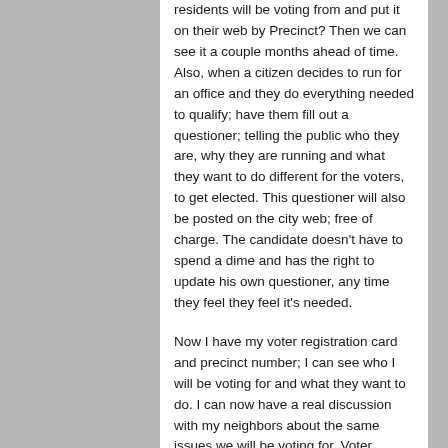residents will be voting from and put it on their web by Precinct? Then we can see it a couple months ahead of time. Also, when a citizen decides to run for an office and they do everything needed to qualify; have them fill out a questioner; telling the public who they are, why they are running and what they want to do different for the voters, to get elected. This questioner will also be posted on the city web; free of charge. The candidate doesn't have to spend a dime and has the right to update his own questioner, any time they feel they feel it's needed.
Now I have my voter registration card and precinct number; I can see who I will be voting for and what they want to do. I can now have a real discussion with my neighbors about the same issues we will be voting for. Voter participation